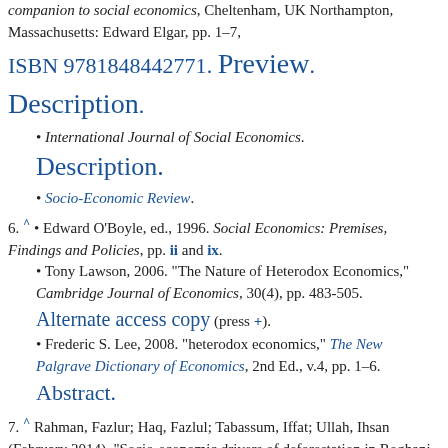companion to social economics, Cheltenham, UK Northampton, Massachusetts: Edward Elgar, pp. 1–7, ISBN 9781848442771. Preview. Description.
• International Journal of Social Economics. Description.
• Socio-Economic Review.
6. ^ • Edward O'Boyle, ed., 1996. Social Economics: Premises, Findings and Policies, pp. ii and ix.
• Tony Lawson, 2006. "The Nature of Heterodox Economics," Cambridge Journal of Economics, 30(4), pp. 483-505. Alternate access copy (press +).
• Frederic S. Lee, 2008. "heterodox economics," The New Palgrave Dictionary of Economics, 2nd Ed., v.4, pp. 1–6. Abstract.
7. ^ Rahman, Fazlur; Haq, Fazlul; Tabassum, Iffat; Ullah, Ihsan (February 2014). "Socio-economic drivers of deforestation in Roghani Valley, Hindu-Raj Mountains, Northern Pakistan". Journal of Mountain